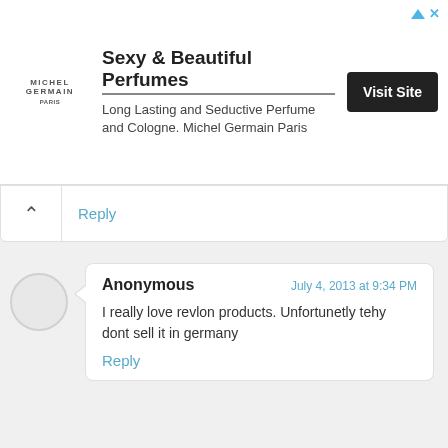[Figure (screenshot): Advertisement banner for Michel Germain Sexy & Beautiful Perfumes with Visit Site button]
Reply
Anonymous
July 4, 2013 at 9:34 PM
I really love revlon products. Unfortunetly tehy dont sell it in germany
Reply
ANDYSTYLE
July 5, 2013 at 8:48 PM
nice review, I love this foundation :)
enter the giveaway if you like!
http://sbr-fashion-fashion.blogspot.com/2013/06/persunmall-summer-style-international.html